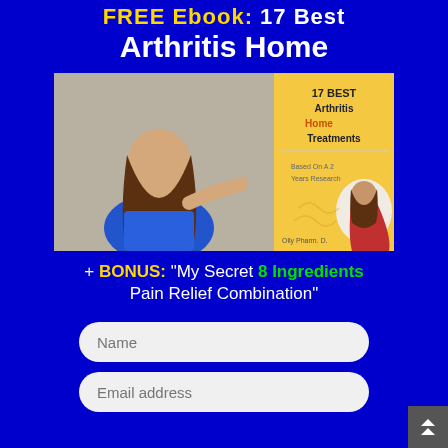FREE Ebook: 17 Best Arthritis Home
[Figure (photo): Promotional image showing a woman in blue top pointing, alongside a book cover for '17 BEST Arthritis Home Treatments' by Olly Pharm. D., with another woman on the book cover, yellow background, text 'Based On A 2 Years Research']
+ BONUS: "My Secret 8 Ingredients Pain Relief Combination"
Name (input field placeholder)
Email address (input field placeholder)